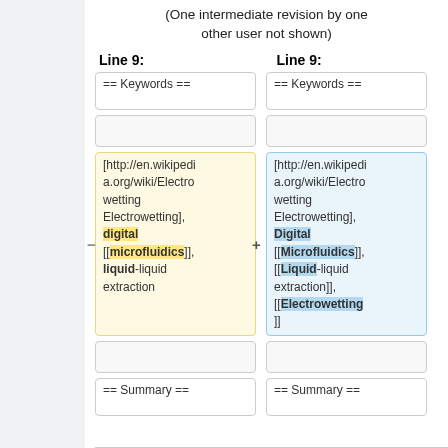(One intermediate revision by one other user not shown)
Line 9:
Line 9:
| Left (old) | Right (new) |
| --- | --- |
| == Keywords == | == Keywords == |
|  |  |
| [http://en.wikipedia.org/wiki/Electrowetting Electrowetting], digital [[microfluidics]], liquid-liquid extraction | [http://en.wikipedia.org/wiki/Electrowetting Electrowetting], Digital [[Microfluidics]], [[Liquid-liquid extraction]], [[Electrowetting]] |
|  |  |
| == Summary == | == Summary == |